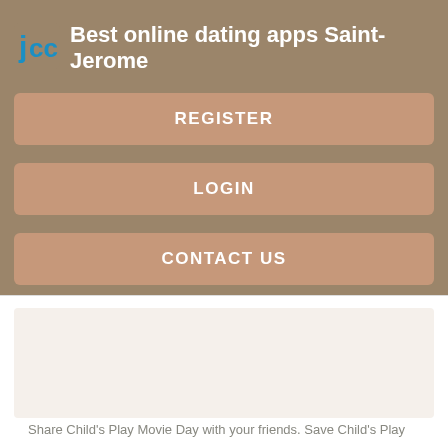Best online dating apps Saint-Jerome
[Figure (logo): JCC logo icon in blue]
REGISTER
LOGIN
CONTACT US
Share Child's Play Movie Day with your friends. Save Child's Play